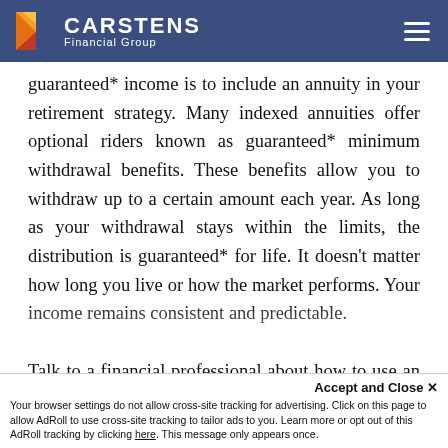CARSTENS Financial Group
guaranteed* income is to include an annuity in your retirement strategy. Many indexed annuities offer optional riders known as guaranteed* minimum withdrawal benefits. These benefits allow you to withdraw up to a certain amount each year. As long as your withdrawal stays within the limits, the distribution is guaranteed* for life. It doesn't matter how long you live or how the market performs. Your income remains consistent and predictable.

Talk to a financial professional about how to use an annuity to boost your guaranteed* retirement income
Accept and Close ✕
Your browser settings do not allow cross-site tracking for advertising. Click on this page to allow AdRoll to use cross-site tracking to tailor ads to you. Learn more or opt out of this AdRoll tracking by clicking here. This message only appears once.